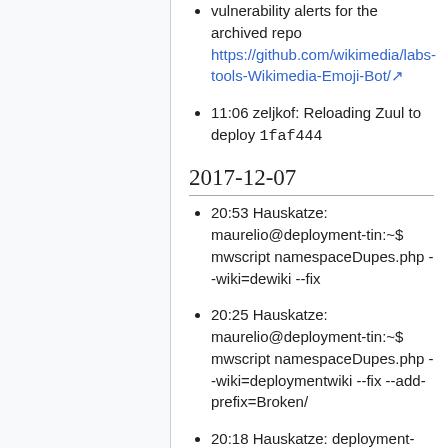vulnerability alerts for the archived repo https://github.com/wikimedia/labs-tools-Wikimedia-Emoji-Bot/
11:06 zeljkof: Reloading Zuul to deploy 1faf444
2017-12-07
20:53 Hauskatze: maurelio@deployment-tin:~$ mwscript namespaceDupes.php --wiki=dewiki --fix
20:25 Hauskatze: maurelio@deployment-tin:~$ mwscript namespaceDupes.php --wiki=deploymentwiki --fix --add-prefix=Broken/
20:18 Hauskatze: deployment-prep maurelio@deployment-tin:~$